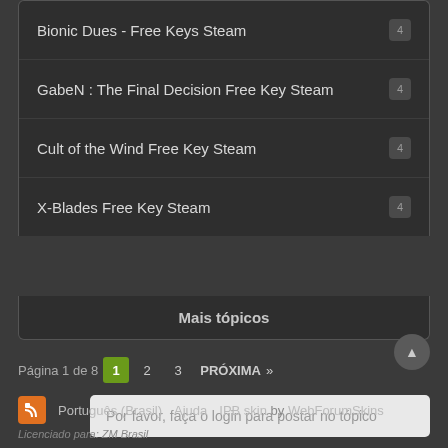Bionic Dues - Free Keys Steam
GabeN : The Final Decision Free Key Steam
Cult of the Wind Free Key Steam
X-Blades Free Key Steam
Mais tópicos
Página 1 de 8   1   2   3   PRÓXIMA   »
Por favor, faça o login para postar no tópico
Português (Brasil)   Ajuda   IPB skin by WebForumSkins
Licenciado para: ZM Brasil